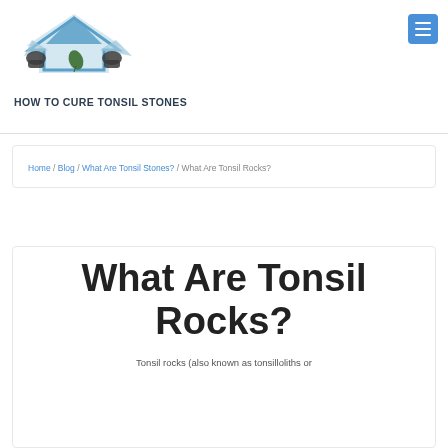HOW TO CURE TONSIL STONES
Home / Blog / What Are Tonsil Stones? / What Are Tonsil Rocks?
What Are Tonsil Rocks?
Tonsil rocks (also known as tonsilloliths or